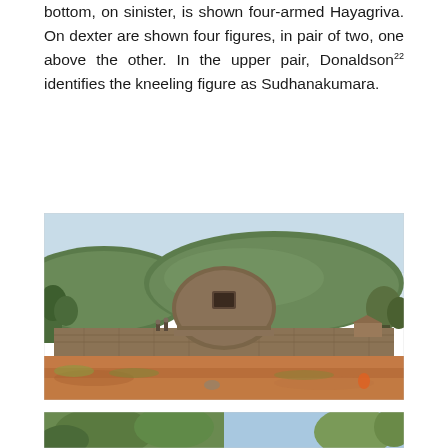bottom, on sinister, is shown four-armed Hayagriva. On dexter are shown four figures, in pair of two, one above the other. In the upper pair, Donaldson22 identifies the kneeling figure as Sudhanakumara.
[Figure (photo): Photograph of an ancient Buddhist stupa within a stone enclosure wall. The stupa has a rounded dome with a small window/niche visible. A staircase leads up to the enclosure entrance. Green forested hills rise in the background under a light blue sky. The foreground shows an open grassy and earthen courtyard with reddish-orange soil.]
[Figure (photo): Partial photograph at the bottom of the page showing trees and landscape, partially cut off.]